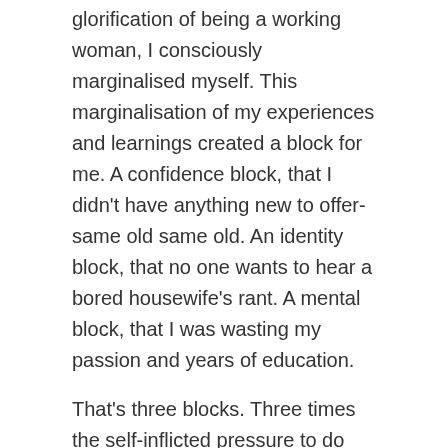glorification of being a working woman, I consciously marginalised myself. This marginalisation of my experiences and learnings created a block for me. A confidence block, that I didn't have anything new to offer- same old same old. An identity block, that no one wants to hear a bored housewife's rant. A mental block, that I was wasting my passion and years of education.
That's three blocks. Three times the self-inflicted pressure to do better. And three times the frustration.
And oddly but not surprisingly enough, all the three blocks led to one. A Writer's Block.
the condition of being unable to think of what to write or how to proceed with